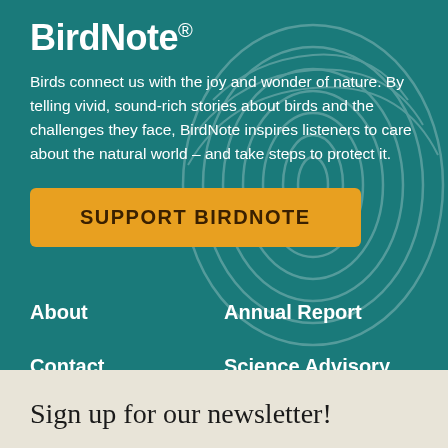BirdNote®
Birds connect us with the joy and wonder of nature. By telling vivid, sound-rich stories about birds and the challenges they face, BirdNote inspires listeners to care about the natural world – and take steps to protect it.
SUPPORT BIRDNOTE
About
Annual Report
Contact
Science Advisory Council
Pitch Page
Sights & Sounds
Sign up for our newsletter!